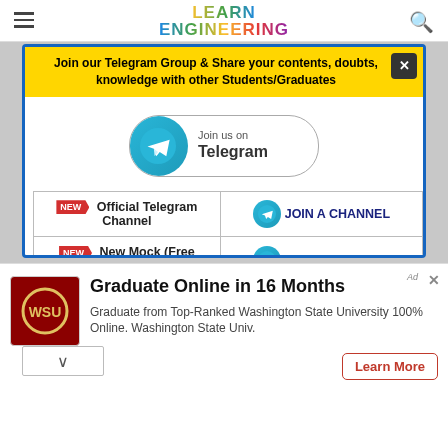≡  LEARN ENGINEERING  🔍
Join our Telegram Group & Share your contents, doubts, knowledge with other Students/Graduates
[Figure (other): Telegram 'Join us on Telegram' button with Telegram logo icon]
| Resource | Action |
| --- | --- |
| [NEW] Official Telegram Channel | JOIN A CHANNEL |
| [NEW] New Mock (Free Quiz) Website | JOIN A CHANNEL |
| [FIRE] Jobs Alerts Group | TELEGRAM CHANNEL |
Ad: Graduate Online in 16 Months — Graduate from Top-Ranked Washington State University 100% Online. Washington State Univ. — Learn More